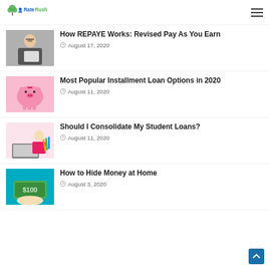RateRush
[Figure (photo): Woman with glasses reading a book]
How REPAYE Works: Revised Pay As You Earn
August 17, 2020
[Figure (photo): Pink piggy bank on pink background]
Most Popular Installment Loan Options in 2020
August 11, 2020
[Figure (photo): Woman at laptop with pencils]
Should I Consolidate My Student Loans?
August 11, 2020
[Figure (photo): Hand holding a hundred dollar bill against teal background]
How to Hide Money at Home
August 3, 2020